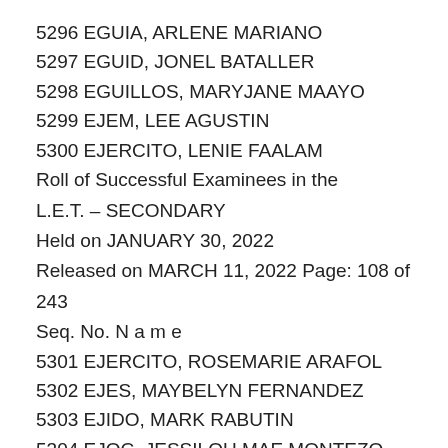5296 EGUIA, ARLENE MARIANO
5297 EGUID, JONEL BATALLER
5298 EGUILLOS, MARYJANE MAAYO
5299 EJEM, LEE AGUSTIN
5300 EJERCITO, LENIE FAALAM
Roll of Successful Examinees in the
L.E.T. – SECONDARY
Held on JANUARY 30, 2022
Released on MARCH 11, 2022 Page: 108 of 243
Seq. No. N a m e
5301 EJERCITO, ROSEMARIE ARAFOL
5302 EJES, MAYBELYN FERNANDEZ
5303 EJIDO, MARK RABUTIN
5304 EJOC, JESSILOU MAE MONTEZO